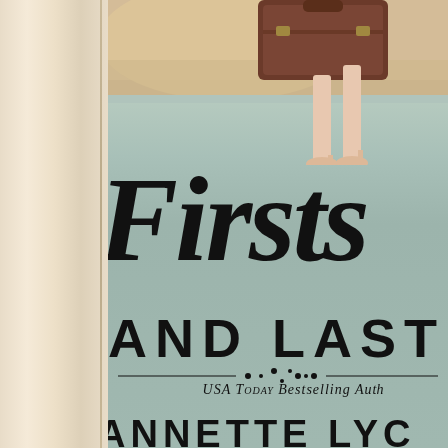[Figure (illustration): Book cover for 'Firsts and Last' by USA Today Bestselling Author Annette Lyon. The cover shows a light teal/mint background with a woman's legs in nude high heels standing next to a vintage brown suitcase at the top. In large cursive/script font is the word 'Firsts' and below in bold uppercase sans-serif 'AND LAST'. Below a decorative ornamental divider line, the text reads 'USA Today Bestselling Author' in italic serif and 'ANNETTE LYO' in large bold uppercase. The left portion of the image shows a creamy beige book spine.]